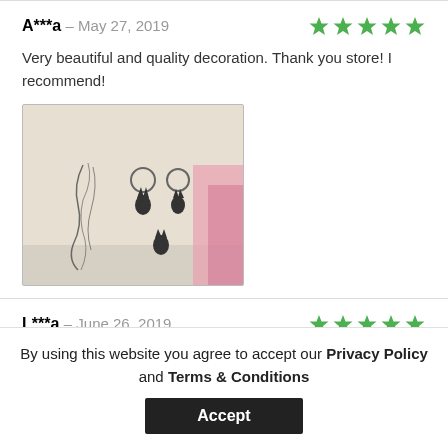A***a – May 27, 2019
[Figure (other): Five green stars rating]
Very beautiful and quality decoration. Thank you store! I recommend!
[Figure (photo): Photo of jewelry items including a necklace chain and small cat-shaped charms/keyrings on a light fabric background with pink accents]
L***a – June 26, 2019
[Figure (other): Five green stars rating]
By using this website you agree to accept our Privacy Policy and Terms & Conditions
Accept